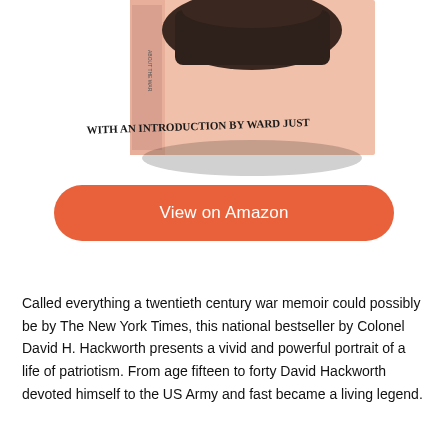[Figure (photo): Book cover showing a war memoir with text 'WITH AN INTRODUCTION BY WARD JUST', pink/salmon colored spine visible, dark object on top of book]
View on Amazon
Called everything a twentieth century war memoir could possibly be by The New York Times, this national bestseller by Colonel David H. Hackworth presents a vivid and powerful portrait of a life of patriotism. From age fifteen to forty David Hackworth devoted himself to the US Army and fast became a living legend.